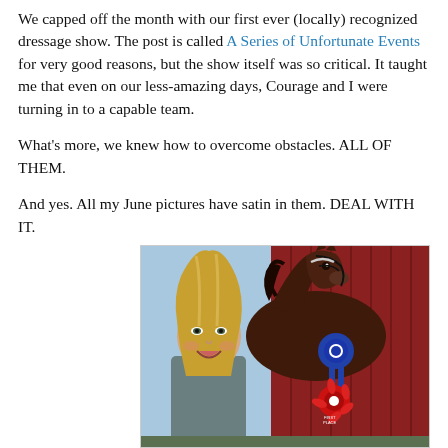We capped off the month with our first ever (locally) recognized dressage show. The post is called A Series of Unfortunate Events for very good reasons, but the show itself was so critical. It taught me that even on our less-amazing days, Courage and I were turning in to a capable team.

What's more, we knew how to overcome obstacles. ALL OF THEM.

And yes. All my June pictures have satin in them. DEAL WITH IT.
[Figure (photo): A smiling blonde woman posing with a dark bay horse wearing a blue first-place ribbon and a red rosette ribbon, standing in front of a red barn.]